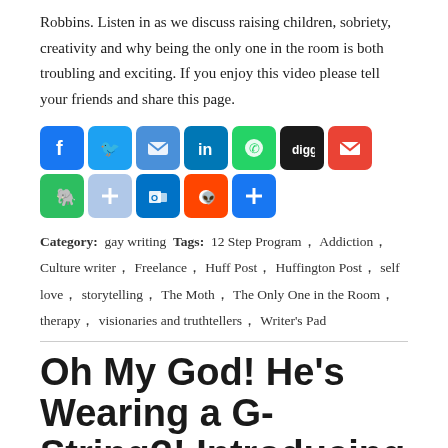Robbins. Listen in as we discuss raising children, sobriety, creativity and why being the only one in the room is both troubling and exciting. If you enjoy this video please tell your friends and share this page.
[Figure (other): Row of social media share buttons: Facebook, Twitter, Email, LinkedIn, WhatsApp, Digg, Gmail, Evernote, AddThis, Outlook, Reddit, and a generic share button]
Category: gay writing  Tags: 12 Step Program, Addiction, Culture writer, Freelance, Huff Post, Huffington Post, self love, storytelling, The Moth, The Only One in the Room, therapy, visionaries and truthtellers, Writer's Pad
Oh My God! He's Wearing a G-String?! Introducing My Parents to Prince